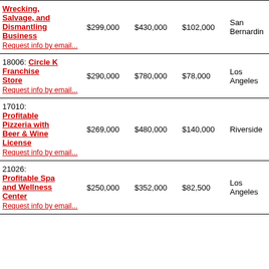| Business | Price | Revenue | Cash Flow | Location |
| --- | --- | --- | --- | --- |
| Wrecking, Salvage, and Dismantling Business | $299,000 | $430,000 | $102,000 | San Bernardino |
| Circle K Franchise Store | $290,000 | $780,000 | $78,000 | Los Angeles |
| Profitable Pizzeria with Beer & Wine License | $269,000 | $480,000 | $140,000 | Riverside |
| Profitable Spa and Wellness Center | $250,000 | $352,000 | $82,500 | Los Angeles |